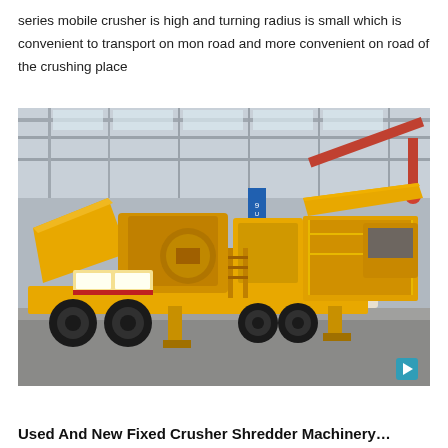series mobile crusher is high and turning radius is small which is convenient to transport on mon road and more convenient on road of the crushing place
[Figure (photo): A large yellow mobile crushing machine (mobile crusher) on wheels, photographed inside an industrial warehouse/factory with steel roof structure. The machine features conveyor belts, a jaw crusher unit, yellow painted metalwork, and black rubber tyres. A red crane arm is visible in the background.]
Used And New Fixed Crusher Shredder Machinery…